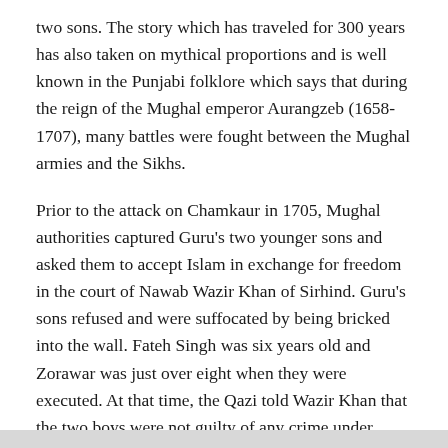two sons. The story which has traveled for 300 years has also taken on mythical proportions and is well known in the Punjabi folklore which says that during the reign of the Mughal emperor Aurangzeb (1658-1707), many battles were fought between the Mughal armies and the Sikhs.
Prior to the attack on Chamkaur in 1705, Mughal authorities captured Guru's two younger sons and asked them to accept Islam in exchange for freedom in the court of Nawab Wazir Khan of Sirhind. Guru's sons refused and were suffocated by being bricked into the wall. Fateh Singh was six years old and Zorawar was just over eight when they were executed. At that time, the Qazi told Wazir Khan that the two boys were not guilty of any crime under Islamic law and could not be held responsible for their father's crime.